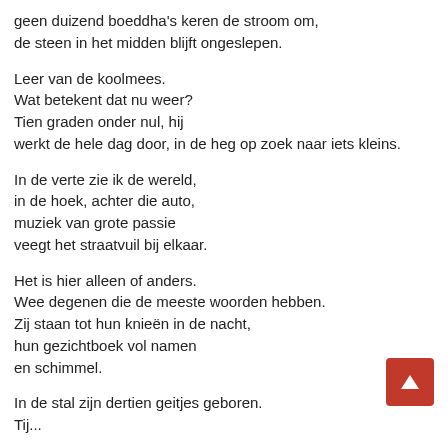geen duizend boeddha's keren de stroom om,
de steen in het midden blijft ongeslepen.
Leer van de koolmees.
Wat betekent dat nu weer?
Tien graden onder nul, hij
werkt de hele dag door, in de heg op zoek naar iets kleins.
In de verte zie ik de wereld,
in de hoek, achter die auto,
muziek van grote passie
veegt het straatvuil bij elkaar.
Het is hier alleen of anders.
Wee degenen die de meeste woorden hebben.
Zij staan tot hun knieën in de nacht,
hun gezichtboek vol namen
en schimmel.
In de stal zijn dertien geitjes geboren.
Tij...